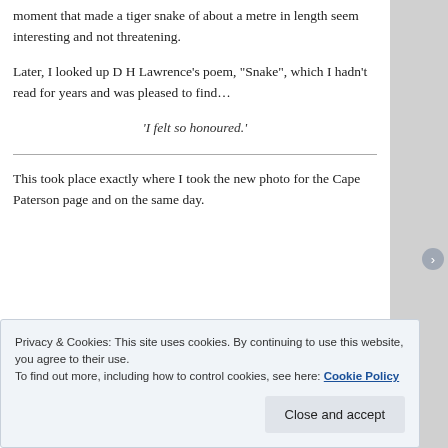moment that made a tiger snake of about a metre in length seem interesting and not threatening.
Later, I looked up D H Lawrence’s poem, “Snake”, which I hadn’t read for years and was pleased to find…
‘I felt so honoured.’
This took place exactly where I took the new photo for the Cape Paterson page and on the same day.
Privacy & Cookies: This site uses cookies. By continuing to use this website, you agree to their use.
To find out more, including how to control cookies, see here: Cookie Policy